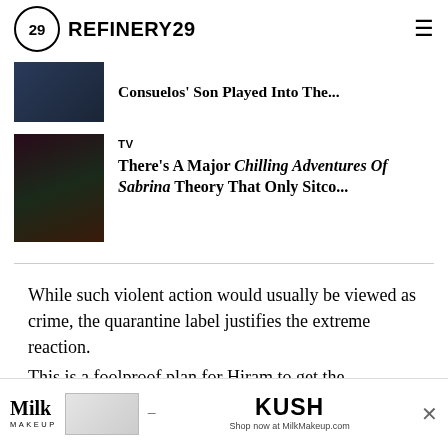REFINERY29
Consuelos' Son Played Into The...
TV
There's A Major Chilling Adventures Of Sabrina Theory That Only Sitco...
While such violent action would usually be viewed as crime, the quarantine label justifies the extreme reaction.
This is a foolproof plan for Hiram to get the “kingdom” he so desires. That is why Hiram and Veronica Lodge’s (Camila Mendes) mid-“Outbreak” conversation is one of the mc... recogn... have
[Figure (advertisement): Milk Makeup and KUSH advertisement banner at bottom of page]